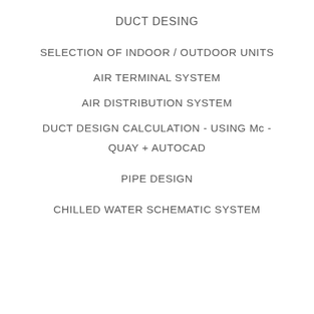DUCT DESING
SELECTION OF INDOOR / OUTDOOR UNITS
AIR TERMINAL SYSTEM
AIR DISTRIBUTION SYSTEM
DUCT DESIGN CALCULATION - USING Mc -
QUAY + AUTOCAD
PIPE DESIGN
CHILLED WATER SCHEMATIC SYSTEM